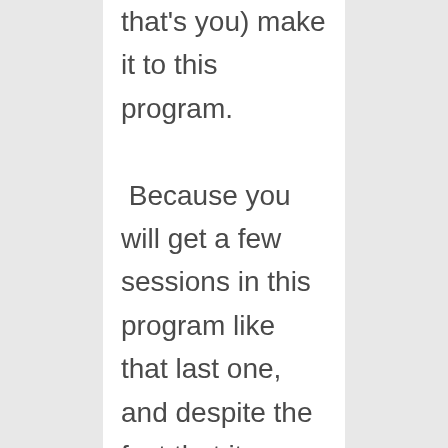that's you) make it to this program. Because you will get a few sessions in this program like that last one, and despite the fact that it requires thinking and taking action, you are the type won't just put it off, or give up.